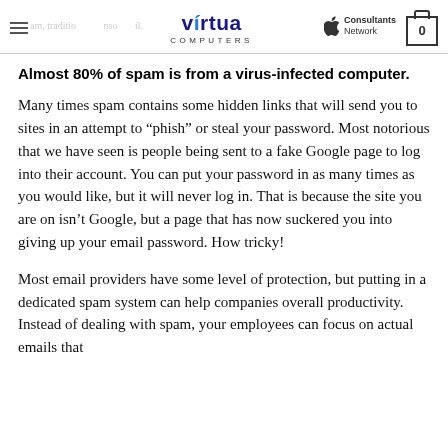Virtua Computers — Apple Consultants Network
Almost 80% of spam is from a virus-infected computer.
Many times spam contains some hidden links that will send you to sites in an attempt to “phish” or steal your password. Most notorious that we have seen is people being sent to a fake Google page to log into their account. You can put your password in as many times as you would like, but it will never log in. That is because the site you are on isn’t Google, but a page that has now suckered you into giving up your email password. How tricky!
Most email providers have some level of protection, but putting in a dedicated spam system can help companies overall productivity. Instead of dealing with spam, your employees can focus on actual emails that